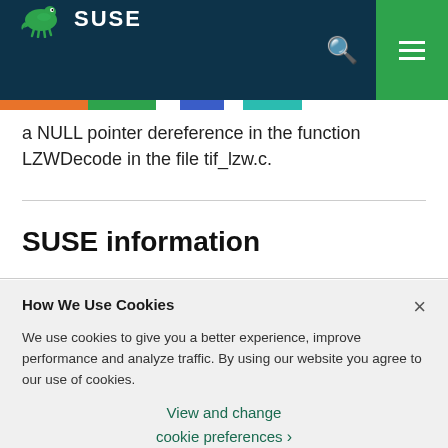SUSE
a NULL pointer dereference in the function LZWDecode in the file tif_lzw.c.
SUSE information
How We Use Cookies
We use cookies to give you a better experience, improve performance and analyze traffic. By using our website you agree to our use of cookies.
View and change cookie preferences >